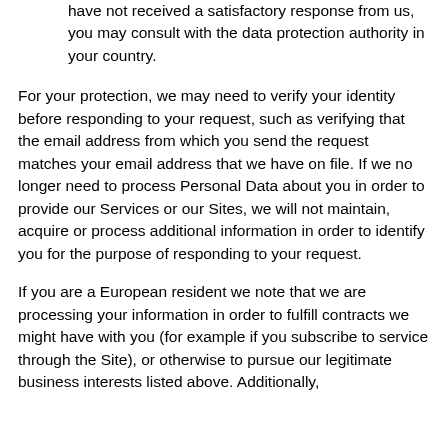have not received a satisfactory response from us, you may consult with the data protection authority in your country.
For your protection, we may need to verify your identity before responding to your request, such as verifying that the email address from which you send the request matches your email address that we have on file. If we no longer need to process Personal Data about you in order to provide our Services or our Sites, we will not maintain, acquire or process additional information in order to identify you for the purpose of responding to your request.
If you are a European resident we note that we are processing your information in order to fulfill contracts we might have with you (for example if you subscribe to service through the Site), or otherwise to pursue our legitimate business interests listed above. Additionally,